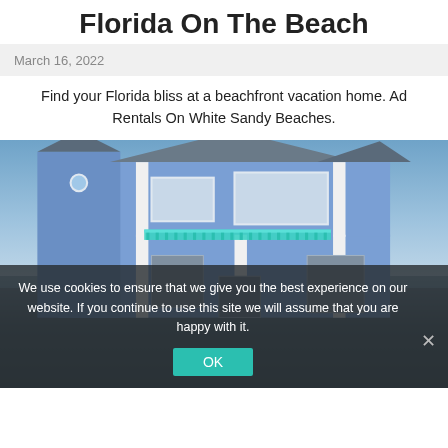Florida On The Beach
March 16, 2022
Find your Florida bliss at a beachfront vacation home. Ad Rentals On White Sandy Beaches.
[Figure (photo): A two-story blue beachfront vacation home with white trim, a teal balcony railing, and water visible in the background. The lower portion shows a dark overlay with a cookie consent banner.]
We use cookies to ensure that we give you the best experience on our website. If you continue to use this site we will assume that you are happy with it.